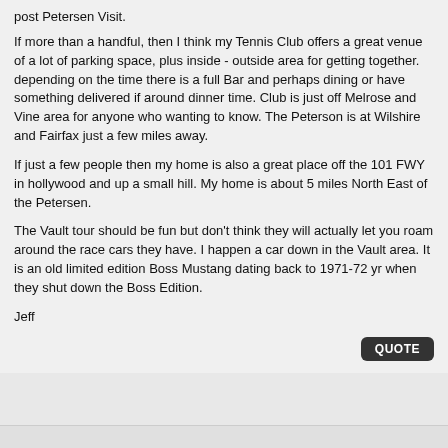post Petersen Visit.
If more than a handful, then I think my Tennis Club offers a great venue of a lot of parking space, plus inside - outside area for getting together.
depending on the time there is a full Bar and perhaps dining or have something delivered if around dinner time. Club is just off Melrose and Vine area for anyone who wanting to know. The Peterson is at Wilshire and Fairfax just a few miles away.
If just a few people then my home is also a great place off the 101 FWY in hollywood and up a small hill. My home is about 5 miles North East of the Petersen.
The Vault tour should be fun but don't think they will actually let you roam around the race cars they have. I happen a car down in the Vault area. It is an old limited edition Boss Mustang dating back to 1971-72 yr when they shut down the Boss Edition.
Jeff